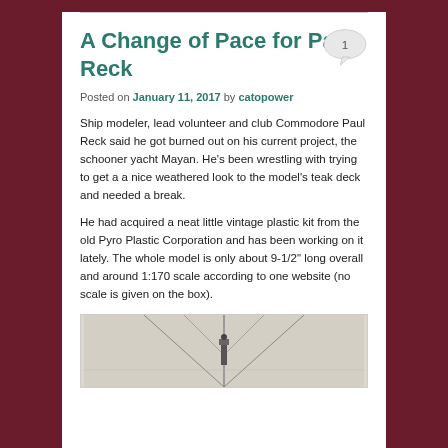A Change of Pace for Paul Reck
Posted on January 11, 2017 by catopower
Ship modeler, lead volunteer and club Commodore Paul Reck said he got burned out on his current project, the schooner yacht Mayan. He’s been wrestling with trying to get a a nice weathered look to the model’s teak deck and needed a break.
He had acquired a neat little vintage plastic kit from the old Pyro Plastic Corporation and has been working on it lately. The whole model is only about 9-1/2” long overall and around 1:170 scale according to one website (no scale is given on the box).
[Figure (photo): Partial photo of a ship model showing mast and rigging details, cropped at bottom of page]